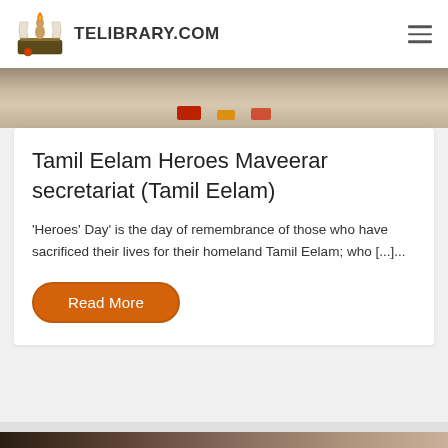TELIBRARY.COM
[Figure (photo): Partial view of a sandy outdoor scene with colored rectangular blocks/objects on the ground]
Tamil Eelam Heroes Maveerar secretariat (Tamil Eelam)
'Heroes' Day' is the day of remembrance of those who have sacrificed their lives for their homeland Tamil Eelam; who [...]...
Read More
[Figure (photo): Partial bottom image strip, appears to be a photo of a person]